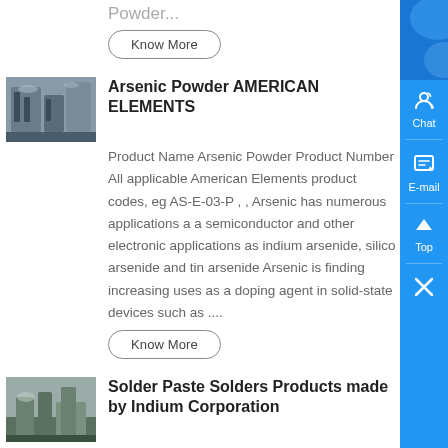Powder...
Know More
[Figure (photo): Industrial factory or facility photo thumbnail]
Arsenic Powder AMERICAN ELEMENTS
Product Name Arsenic Powder Product Number All applicable American Elements product codes, eg AS-E-03-P , , Arsenic has numerous applications a a semiconductor and other electronic applications as indium arsenide, silicone arsenide and tin arsenide Arsenic is finding increasing uses as a doping agent in solid-state devices such as ....
Know More
[Figure (photo): Industrial facility or plant photo thumbnail]
Solder Paste Solders Products made by Indium Corporation